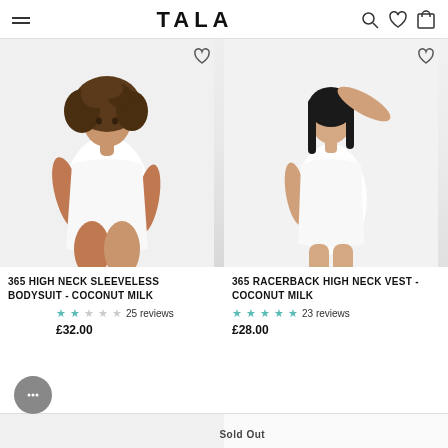TALA
[Figure (photo): Woman with curly hair wearing white high neck sleeveless bodysuit against white background]
365 HIGH NECK SLEEVELESS BODYSUIT - COCONUT MILK
★★ 25 reviews
£32.00
[Figure (photo): Woman with straight dark hair wearing white racerback high neck vest against white background]
365 RACERBACK HIGH NECK VEST - COCONUT MILK
★★★★★ 23 reviews
£28.00